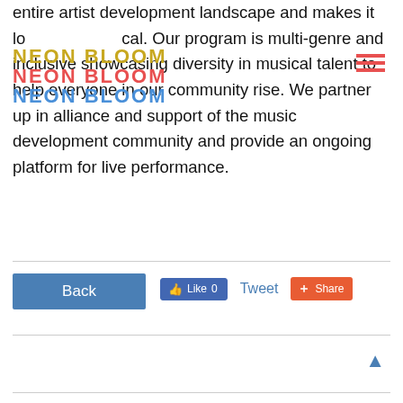entire artist development landscape and makes it local. Our program is multi-genre and inclusive showcasing diversity in musical talent to help everyone in our community rise. We partner up in alliance and support of the music development community and provide an ongoing platform for live performance.
[Figure (logo): NEON BLOOM logo in three stacked lines: yellow, red/pink, and blue text]